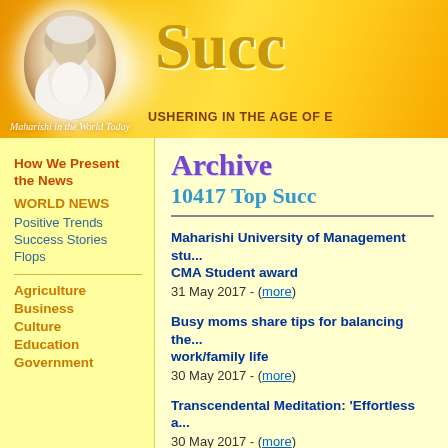[Figure (illustration): Orange gradient website banner with circular portrait of Maharishi (white-robed elderly man with long white hair and beard), glowing halo effect, and caption 'Maharishi in the World Today'. Right side shows partial site title 'Succ...' in gold serif font and subtitle 'Ushering in the Age of...' in dark bold text.]
How We Present the News
WORLD NEWS
Positive Trends
Success Stories
Flops
Agriculture
Business
Culture
Education
Government
Archiv...
10417 Top Succ...
Maharishi University of Management stu... CMA Student award
31 May 2017 - (more)
Busy moms share tips for balancing the... work/family life
30 May 2017 - (more)
Transcendental Meditation: 'Effortless a...
30 May 2017 - (more)